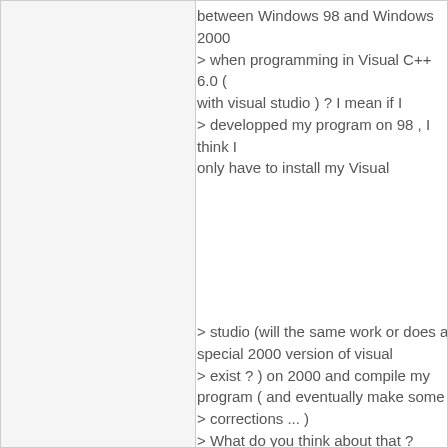between Windows 98 and Windows 2000 > when programming in Visual C++ 6.0 ( with visual studio )  ? I mean if I > developped my program on 98 , I think I only have to install my Visual
> studio (will the same work or does a special 2000 version of visual > exist ? ) on 2000 and compile my program ( and eventually make some > corrections ... ) > What do you think about that ? > thanks > xavier